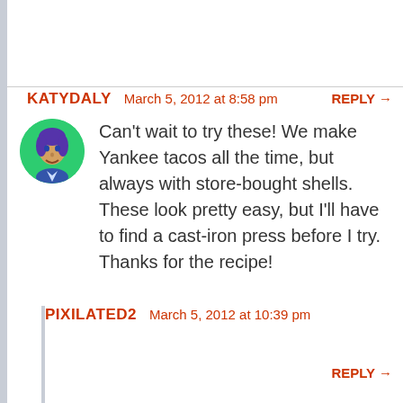KATYDALY   March 5, 2012 at 8:58 pm   REPLY →
[Figure (illustration): Small circular avatar with green background showing a stylized portrait illustration of a person]
Can't wait to try these! We make Yankee tacos all the time, but always with store-bought shells. These look pretty easy, but I'll have to find a cast-iron press before I try. Thanks for the recipe!
PIXILATED2   March 5, 2012 at 10:39 pm
REPLY →